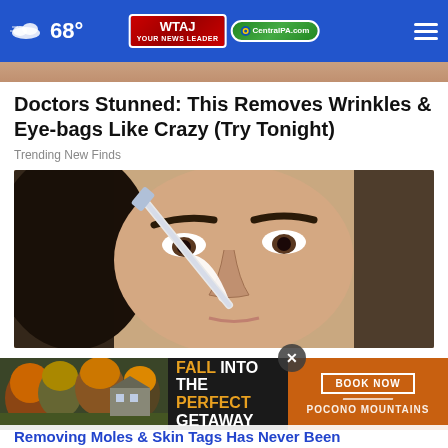68° WTAJ CentralPA.com
[Figure (photo): Partial top of image showing a person's face/skin closeup]
Doctors Stunned: This Removes Wrinkles & Eye-bags Like Crazy (Try Tonight)
Trending New Finds
[Figure (photo): Woman with dark hair applying a white substance near her nose/eye area with a brush or applicator]
[Figure (photo): Advertisement: FALL INTO THE PERFECT GETAWAY with BOOK NOW button and Pocono Mountains branding]
Removing Moles & Skin Tags Has Never Been